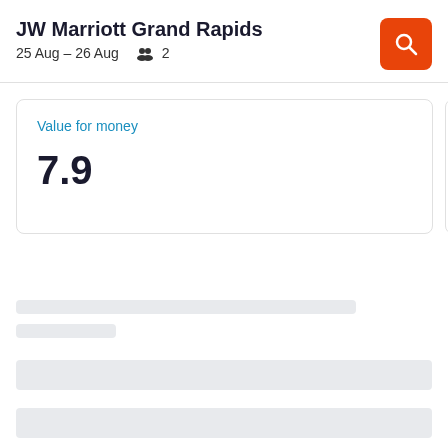JW Marriott Grand Rapids
25 Aug – 26 Aug   👥 2
Value for money
7.9
Distance
0.3
[Figure (other): Loading skeleton bars placeholder content]